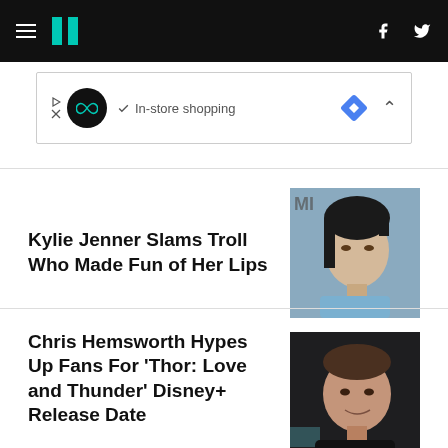HuffPost navigation header with hamburger menu, logo, Facebook and Twitter icons
[Figure (other): Ad banner: infinity loop icon, checkmark, 'In-store shopping' text, blue diamond navigation icon]
Kylie Jenner Slams Troll Who Made Fun of Her Lips
[Figure (photo): Photo of Kylie Jenner with dark hair pulled back, wearing blue outfit, text 'MI' visible in background]
Chris Hemsworth Hypes Up Fans For 'Thor: Love and Thunder' Disney+ Release Date
[Figure (photo): Photo of Chris Hemsworth smiling, dark hair, dark jacket, dark background]